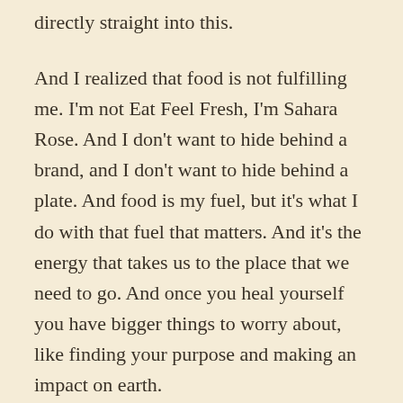directly straight into this.
And I realized that food is not fulfilling me. I'm not Eat Feel Fresh, I'm Sahara Rose. And I don't want to hide behind a brand, and I don't want to hide behind a plate. And food is my fuel, but it's what I do with that fuel that matters. And it's the energy that takes us to the place that we need to go. And once you heal yourself you have bigger things to worry about, like finding your purpose and making an impact on earth.
So I wasn't even interested really in talking about all the nutrition stuff that I used to super care